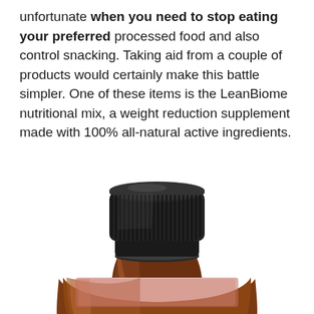unfortunate when you need to stop eating your preferred processed food and also control snacking. Taking aid from a couple of products would certainly make this battle simpler. One of these items is the LeanBiome nutritional mix, a weight reduction supplement made with 100% all-natural active ingredients.
[Figure (photo): Close-up photo of the top portion of an amber glass supplement bottle with a black ribbed screw cap, partially cropped at the bottom]